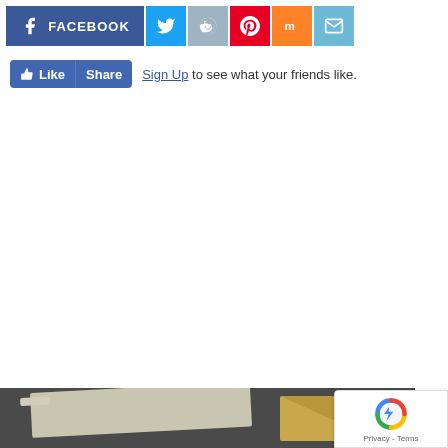[Figure (screenshot): Social media share buttons row: Facebook (blue, wide), Twitter (blue bird), Reddit (alien), Pinterest (red P), Mix (orange m), Email (blue envelope)]
[Figure (screenshot): Facebook Like and Share buttons followed by 'Sign Up to see what your friends like.' text]
[Figure (photo): Partial photo at bottom of page showing what appears to be an envelope or paper on a dark surface]
[Figure (other): reCAPTCHA badge in bottom right corner showing Google reCAPTCHA logo with 'Privacy - Terms' text]